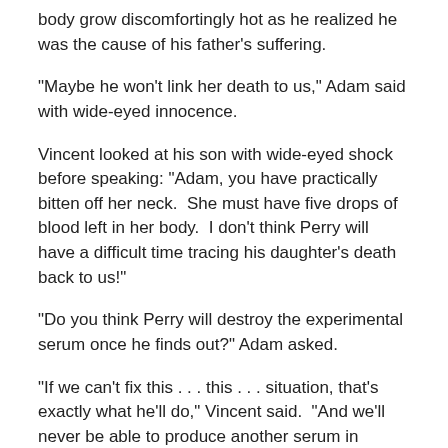body grow discomfortingly hot as he realized he was the cause of his father's suffering.
“Maybe he won't link her death to us,” Adam said with wide-eyed innocence.
Vincent looked at his son with wide-eyed shock before speaking: “Adam, you have practically bitten off her neck.  She must have five drops of blood left in her body.  I don’t think Perry will have a difficult time tracing his daughter’s death back to us!”
“Do you think Perry will destroy the experimental serum once he finds out?” Adam asked.
“If we can't fix this . . . this . . . situation, that's exactly what he'll do,” Vincent said.  “And we'll never be able to produce another serum in enough time.”
The night wind roared between them and Adam felt his father